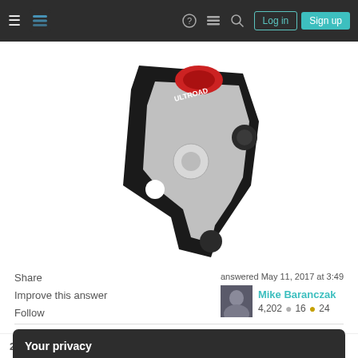Stack Exchange navigation bar with hamburger menu, logo, help, chat, search icons, Log in and Sign up buttons
[Figure (photo): Close-up photo of a bicycle brake component, silver and black, with red accent, labeled 'ULTROAD' or similar]
Share   Improve this answer   Follow
answered May 11, 2017 at 3:49   Mike Baranczak   4,202   16   24
Your privacy
By clicking "Accept all cookies", you agree Stack Exchange can store cookies on your device and disclose information in accordance with our Cookie Policy.
Accept all cookies   Customize settings
2   It's hard to explain in words, and I couldn't find a good